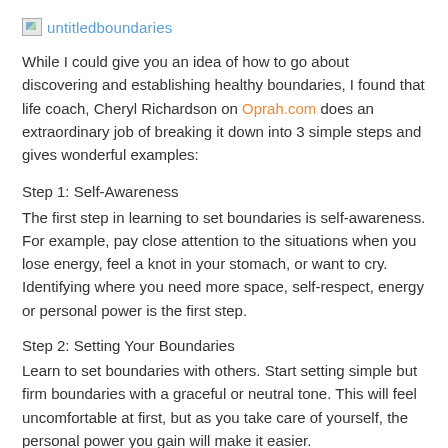untitledboundaries
While I could give you an idea of how to go about discovering and establishing healthy boundaries, I found that life coach, Cheryl Richardson on Oprah.com does an extraordinary job of breaking it down into 3 simple steps and gives wonderful examples:
Step 1: Self-Awareness
The first step in learning to set boundaries is self-awareness. For example, pay close attention to the situations when you lose energy, feel a knot in your stomach, or want to cry. Identifying where you need more space, self-respect, energy or personal power is the first step.
Step 2: Setting Your Boundaries
Learn to set boundaries with others. Start setting simple but firm boundaries with a graceful or neutral tone. This will feel uncomfortable at first, but as you take care of yourself, the personal power you gain will make it easier.